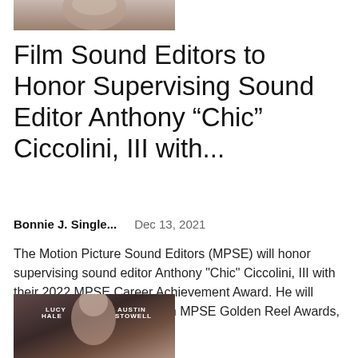[Figure (photo): Top portion of a photo showing a man with grey beard and light colored jacket, cropped at the top of the page]
Film Sound Editors to Honor Supervising Sound Editor Anthony “Chic” Ciccolini, III with...
Bonnie J. Single...    Dec 13, 2021
The Motion Picture Sound Editors (MPSE) will honor supervising sound editor Anthony "Chic" Ciccolini, III with their 2022 MPSE Career Achievement Award. He will receive the honor at the 69th MPSE Golden Reel Awards, scheduled for March 13,...
[Figure (photo): Bottom photo showing a woman with dark hair and red dress with text overlays reading LUCY HALE and AUSTIN STOWELL]